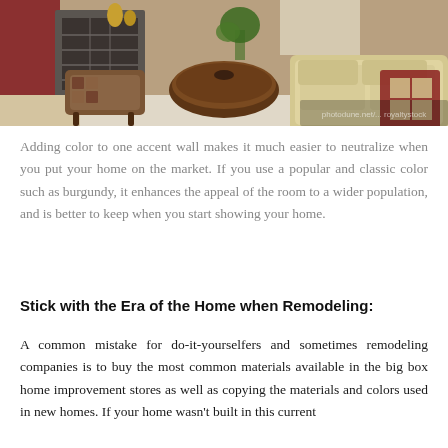[Figure (photo): Interior living room photo showing a traditional/classic styled room with a round dark wood coffee table, patterned upholstered chairs, a cream/beige sofa, checkered throw, plant, and a stone fireplace. Warm tones with burgundy accents.]
Adding color to one accent wall makes it much easier to neutralize when you put your home on the market. If you use a popular and classic color such as burgundy, it enhances the appeal of the room to a wider population, and is better to keep when you start showing your home.
Stick with the Era of the Home when Remodeling:
A common mistake for do-it-yourselfers and sometimes remodeling companies is to buy the most common materials available in the big box home improvement stores as well as copying the materials and colors used in new homes. If your home wasn't built in this current